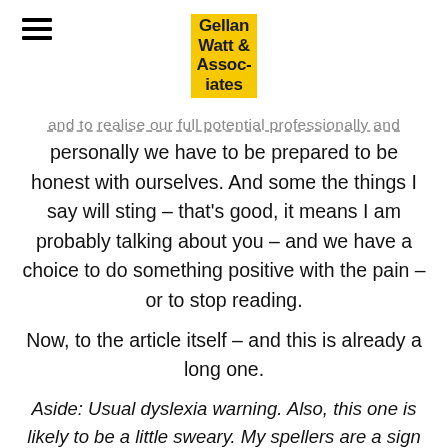Gellan Watt & Associates
and to realise our full potential professionally and personally we have to be prepared to be honest with ourselves. And some the things I say will sting – that's good, it means I am probably talking about you – and we have a choice to do something positive with the pain – or to stop reading.
Now, to the article itself – and this is already a long one.
Aside: Usual dyslexia warning. Also, this one is likely to be a little sweary. My spellers are a sign of enthusiasms. As is some of my language.